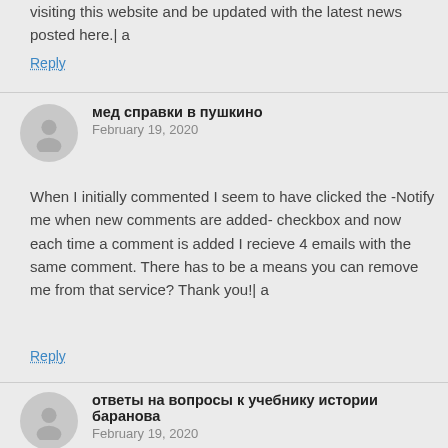visiting this website and be updated with the latest news posted here.| a
Reply
мед справки в пушкино
February 19, 2020
When I initially commented I seem to have clicked the -Notify me when new comments are added- checkbox and now each time a comment is added I recieve 4 emails with the same comment. There has to be a means you can remove me from that service? Thank you!| a
Reply
ответы на вопросы к учебнику истории баранова
February 19, 2020
If some one wishes to be updated with latest technologies afterward he must be visit this web site